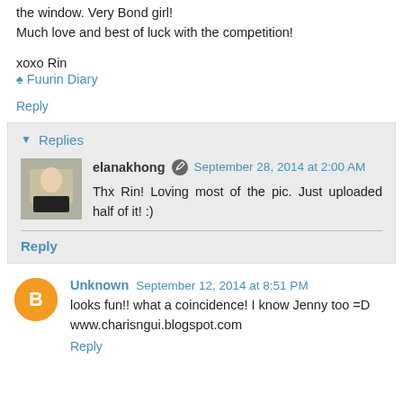the window. Very Bond girl!
Much love and best of luck with the competition!
xoxo Rin
♠ Fuurin Diary
Reply
▾ Replies
elanakhong  September 28, 2014 at 2:00 AM
Thx Rin! Loving most of the pic. Just uploaded half of it! :)
Reply
Unknown  September 12, 2014 at 8:51 PM
looks fun!! what a coincidence! I know Jenny too =D
www.charisngui.blogspot.com
Reply